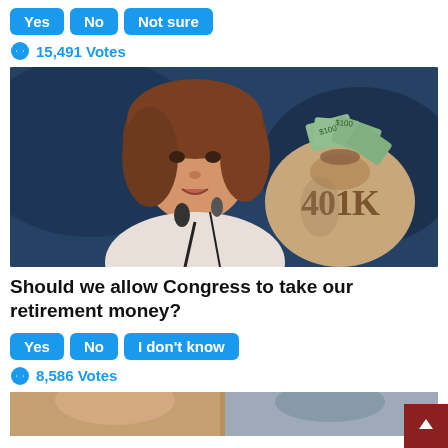Yes  No  Not sure
15,491 Votes
[Figure (photo): Photo of a woman speaking at a podium with a microphone, overlaid with an image of a burlap money bag labeled '401K' filled with dollar bills, set against a blue background.]
Should we allow Congress to take our retirement money?
Yes  No  I don't know
8,586 Votes
[Figure (photo): Partial photo of another person, cropped at the bottom of the page.]